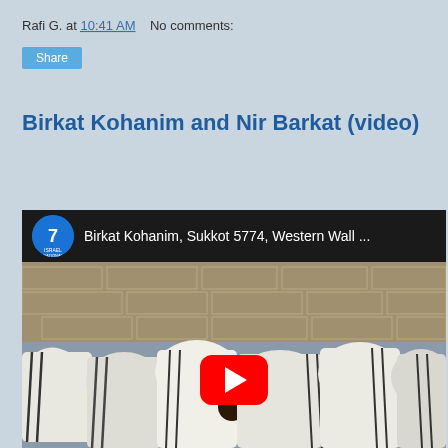Rafi G. at 10:41 AM   No comments:
Share
Birkat Kohanim and Nir Barkat (video)
[Figure (screenshot): Embedded YouTube video thumbnail showing Birkat Kohanim, Sukkot 5774, Western Wall, with Israel National News channel logo, black title bar, and a scene of Kohanim in white tallitot bowed at the Western Wall with a red YouTube play button overlay.]